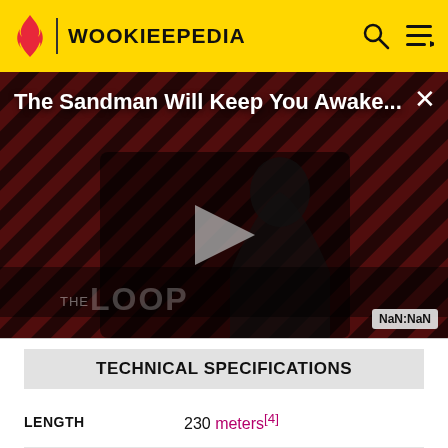WOOKIEEPEDIA
[Figure (screenshot): Video thumbnail for 'The Sandman Will Keep You Awake...' showing a dark-clad figure against a red and black striped background with THE LOOP text and a play button. NaN:NaN shown in bottom right corner.]
TECHNICAL SPECIFICATIONS
| Attribute | Value |
| --- | --- |
| LENGTH | 230 meters[4] |
| ENGINE UNIT(S) | 2[5] |